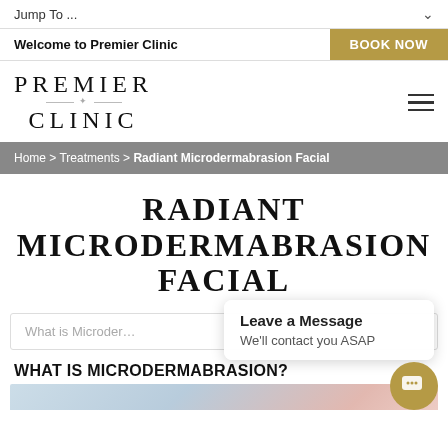Jump To ...
Welcome to Premier Clinic | BOOK NOW
[Figure (logo): Premier Clinic logo with serif lettering and decorative asterisk line]
Home > Treatments > Radiant Microdermabrasion Facial
RADIANT MICRODERMABRASION FACIAL
What is Microder...
Leave a Message
We'll contact you ASAP
WHAT IS MICRODERMABRASION?
[Figure (photo): Partial photo showing a microdermabrasion treatment being applied to a face]